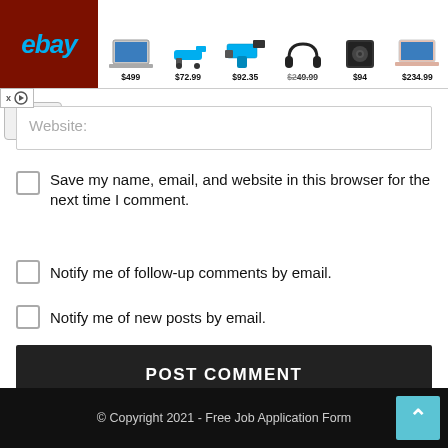[Figure (screenshot): eBay advertisement banner showing laptop ($499), power tool ($72.99), drill kit ($92.35), headphones ($249.99), speaker ($94), and laptop ($234.99) with eBay logo on dark red background]
Website:
Save my name, email, and website in this browser for the next time I comment.
Notify me of follow-up comments by email.
Notify me of new posts by email.
POST COMMENT
© Copyright 2021 - Free Job Application Form